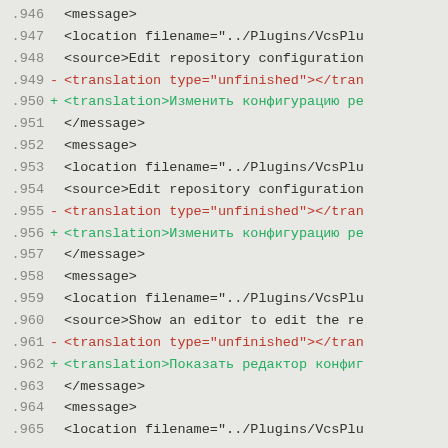Diff/code listing showing XML translation file changes, lines 946-965
.946     <message>
.947         <location filename="../Plugins/VcsPlu
.948         <source>Edit repository configuration
.949 -       <translation type="unfinished"></tran
.950 +       <translation>Изменить конфигурацию ре
.951     </message>
.952     <message>
.953         <location filename="../Plugins/VcsPlu
.954         <source>Edit repository configuration
.955 -       <translation type="unfinished"></tran
.956 +       <translation>Изменить конфигурацию ре
.957     </message>
.958     <message>
.959         <location filename="../Plugins/VcsPlu
.960         <source>Show an editor to edit the re
.961 -       <translation type="unfinished"></tran
.962 +       <translation>Показать редактор конфиг
.963     </message>
.964     <message>
.965         <location filename="../Plugins/VcsPlu